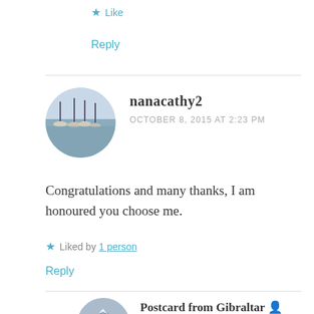★ Like
Reply
[Figure (photo): Circular avatar photo of a marina with sailboats and water, used as user profile picture for nanacathy2]
nanacathy2
OCTOBER 8, 2015 AT 2:23 PM
Congratulations and many thanks, I am honoured you choose me.
★ Liked by 1 person
Reply
[Figure (photo): Circular avatar photo showing a mountain landscape, used as profile picture for Postcard from Gibraltar]
Postcard from Gibraltar
OCTOBER 8, 2015 AT 2:32 PM